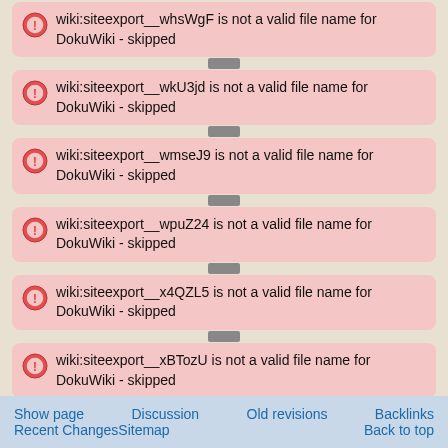wiki:siteexport__whsWgF is not a valid file name for DokuWiki - skipped
wiki:siteexport__wkU3jd is not a valid file name for DokuWiki - skipped
wiki:siteexport__wmseJ9 is not a valid file name for DokuWiki - skipped
wiki:siteexport__wpuZ24 is not a valid file name for DokuWiki - skipped
wiki:siteexport__x4QZL5 is not a valid file name for DokuWiki - skipped
wiki:siteexport__xBTozU is not a valid file name for DokuWiki - skipped
wiki:siteexport__xDi1zs is not a valid file name for DokuWiki - skipped
Show page   Discussion   Old revisions   Backlinks
Recent Changes   Sitemap   Back to top